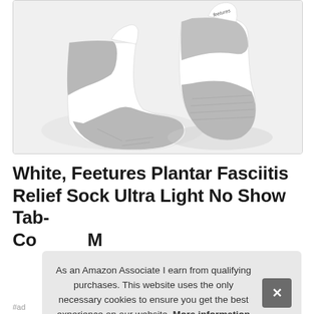[Figure (photo): Two white and gray Feetures athletic ankle socks shown from different angles on a light gray background, one from the side showing the heel and one from the back showing the heel tab with Feetures logo.]
White, Feetures Plantar Fasciitis Relief Sock Ultra Light No Show Tab- Co... Me...
As an Amazon Associate I earn from qualifying purchases. This website uses the only necessary cookies to ensure you get the best experience on our website. More information
#ad